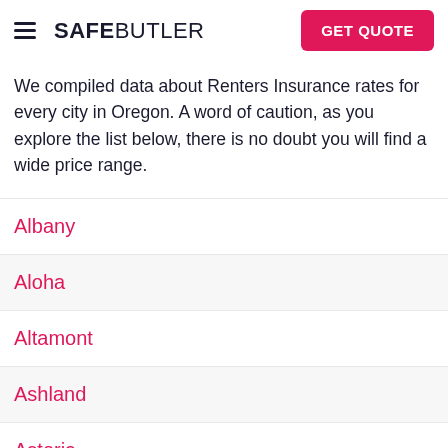SAFEBUTLER | GET QUOTE
We compiled data about Renters Insurance rates for every city in Oregon. A word of caution, as you explore the list below, there is no doubt you will find a wide price range.
Albany
Aloha
Altamont
Ashland
Astoria